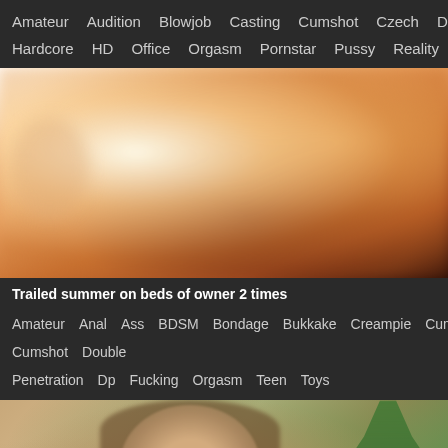Amateur  Audition  Blowjob  Casting  Cumshot  Czech  Dick  Hardcore  HD  Office  Orgasm  Pornstar  Pussy  Reality
[Figure (photo): Blurred close-up skin-tone image, abstract]
Trailed summer on beds of owner 2 times
Amateur  Anal  Ass  BDSM  Bondage  Bukkake  Creampie  Cum  Cumshot  Double Penetration  Dp  Fucking  Orgasm  Teen  Toys
[Figure (photo): Young Asian woman with hand near mouth, plant in background]